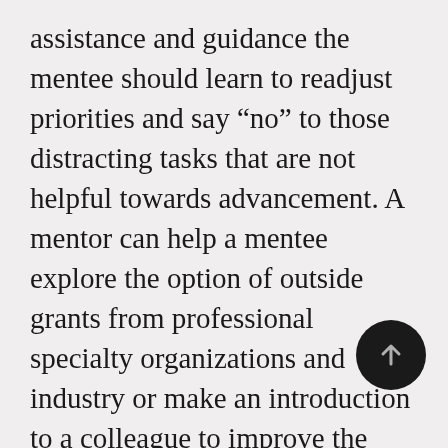assistance and guidance the mentee should learn to readjust priorities and say “no” to those distracting tasks that are not helpful towards advancement. A mentor can help a mentee explore the option of outside grants from professional specialty organizations and industry or make an introduction to a colleague to improve the strength of a proposal. It ma possible to “borrow” a colleague’s resources in exchange for the mentee’s expertise. Unhelpful or